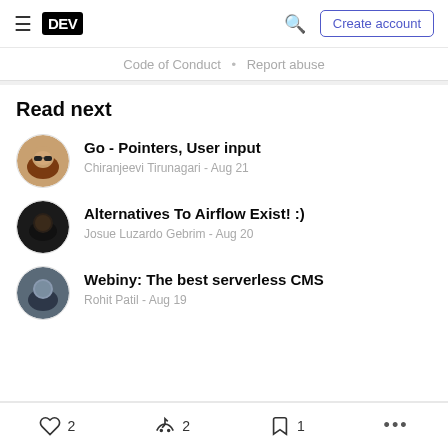DEV — Create account
Code of Conduct · Report abuse
Read next
Go - Pointers, User input — Chiranjeevi Tirunagari - Aug 21
Alternatives To Airflow Exist! :) — Josue Luzardo Gebrim - Aug 20
Webiny: The best serverless CMS — Rohit Patil - Aug 19
2  2  1  ...